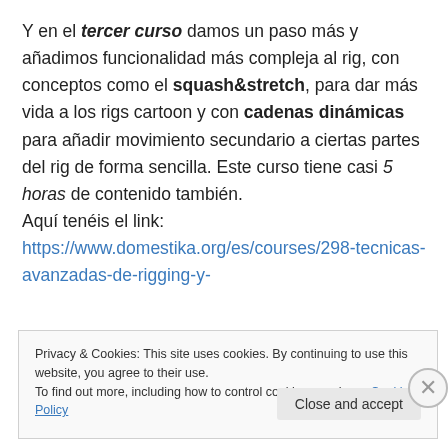Y en el tercer curso damos un paso más y añadimos funcionalidad más compleja al rig, con conceptos como el squash&stretch, para dar más vida a los rigs cartoon y con cadenas dinámicas para añadir movimiento secundario a ciertas partes del rig de forma sencilla. Este curso tiene casi 5 horas de contenido también. Aquí tenéis el link: https://www.domestika.org/es/courses/298-tecnicas-avanzadas-de-rigging-y-
Privacy & Cookies: This site uses cookies. By continuing to use this website, you agree to their use. To find out more, including how to control cookies, see here: Cookie Policy
Close and accept